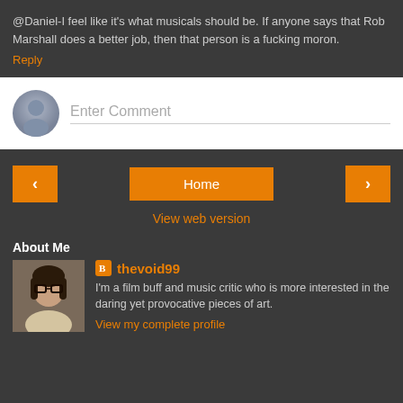@Daniel-I feel like it's what musicals should be. If anyone says that Rob Marshall does a better job, then that person is a fucking moron.
Reply
[Figure (screenshot): Comment input box with avatar placeholder and 'Enter Comment' placeholder text]
[Figure (infographic): Navigation buttons: left arrow, Home, right arrow]
View web version
About Me
[Figure (photo): Profile photo of a woman with dark bob haircut and glasses]
thevoid99
I'm a film buff and music critic who is more interested in the daring yet provocative pieces of art.
View my complete profile